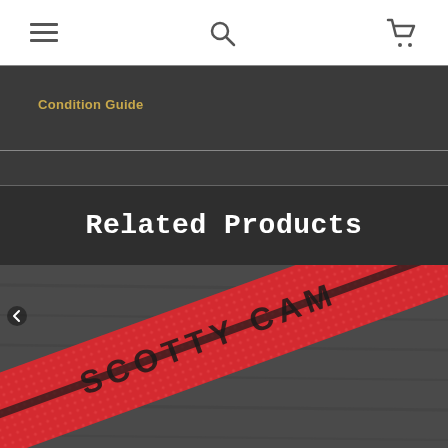Navigation bar with hamburger menu, search icon, and cart icon
Condition Guide
Related Products
[Figure (photo): Close-up photo of a red Scotty Cameron golf putter grip with textured surface and black text reading SCOTTY CAMERON, resting on a dark gray wooden surface]